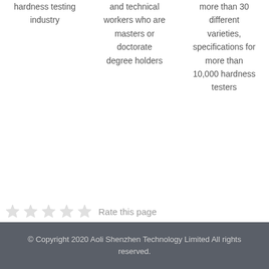hardness testing industry
and technical workers who are masters or doctorate degree holders
more than 30 different varieties, specifications for more than 10,000 hardness testers
Rate this page
© Copyright 2020 Aoli Shenzhen Technology Limited All rights reserved.